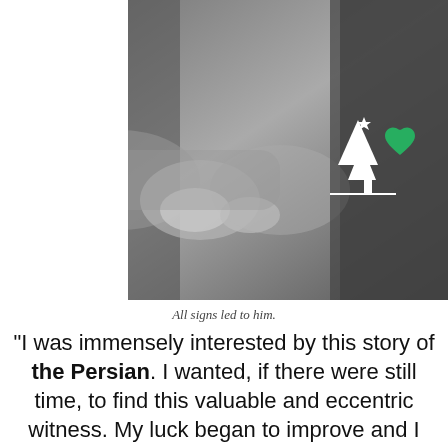[Figure (photo): Black and white photograph of two people holding hands, with a white Christmas tree icon and a green heart icon overlaid in the lower right of the image.]
All signs led to him.
“I was immensely interested by this story of the Persian. I wanted, if there were still time, to find this valuable and eccentric witness. My luck began to improve and I discovered him in his little flat in the Rue de Rivoli....I also went into the past history of the Persian and found that he was an upright man